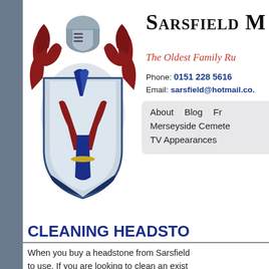[Figure (logo): Sarsfield family crest/coat of arms with red fleur-de-lis, knight helmet, red foliage, and blue shield elements]
Sarsfield M
The Oldest Family Ru
Phone: 0151 228 5616
Email: sarsfield@hotmail.co.
About   Blog   Fr   Merseyside Cemete   TV Appearances
CLEANING HEADSTO
When you buy a headstone from Sarsfield to use. If you are looking to clean an exist obligation quote for us to do the work if yo